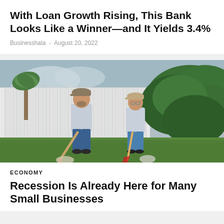With Loan Growth Rising, This Bank Looks Like a Winner—and It Yields 3.4%
Businesshala - August 20, 2022
[Figure (photo): Two people standing on grass holding garden tools (rakes/shovels) with orange and gray handles, in front of a white fence and large green hedge. Bags on ground. Both wearing caps and light-colored long-sleeve shirts.]
ECONOMY
Recession Is Already Here for Many Small Businesses